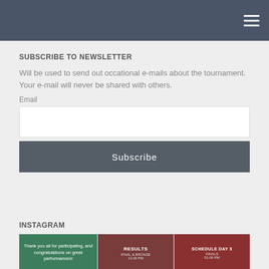Navigation bar with hamburger menu
SUBSCRIBE TO NEWSLETTER
Will be used to send out occational e-mails about the tournament. Your e-mail will never be shared with others.
Email
INSTAGRAM
[Figure (photo): Three Instagram thumbnail images: green image with thank you message, dark red RESULTS image, dark red SCHEDULE DAY 3 image]